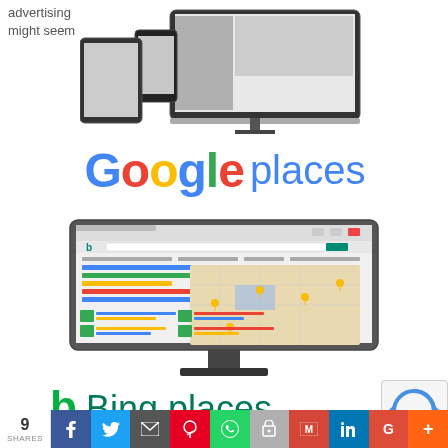advertising might seem
[Figure (screenshot): Multiple devices (phone, tablet, desktop monitor, laptop) showing a website or virtual tour interface]
[Figure (logo): Google Places logo in Google colors with blue 'places' text]
[Figure (screenshot): Bing search results page on a monitor showing local search with map and place listings]
[Figure (logo): Bing places logo with green Bing 'b' icon and teal 'Bing places' text]
[Figure (logo): reCAPTCHA logo icon]
9 SHARES - social share bar with Facebook, Twitter, Email, Pinterest, WhatsApp, Print, Gmail, LinkedIn, Google+, More buttons